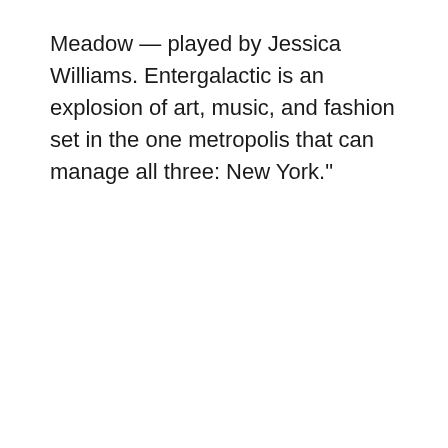Meadow — played by Jessica Williams. Entergalactic is an explosion of art, music, and fashion set in the one metropolis that can manage all three: New York."